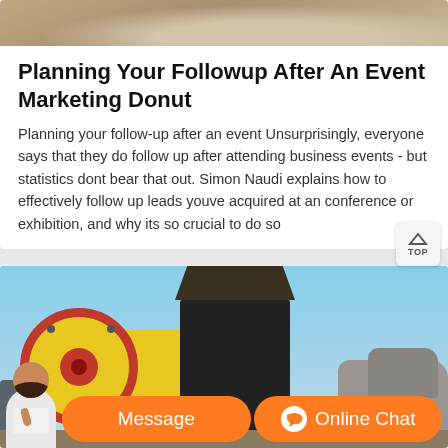[Figure (photo): Top partial image — sandy/rocky ground texture, cropped at top]
Planning Your Followup After An Event Marketing Donut
Planning your follow-up after an event Unsurprisingly, everyone says that they do follow up after attending business events - but statistics dont bear that out. Simon Naudi explains how to effectively follow up leads youve acquired at an conference or exhibition, and why its so crucial to do so
[Figure (photo): Industrial jaw crusher machine with yellow body, large red flywheel, dark metal hopper, and rocks on right side, against a blue sky background]
[Figure (screenshot): Orange chat bar at bottom with customer service avatar on left, Message button and Online Chat button]